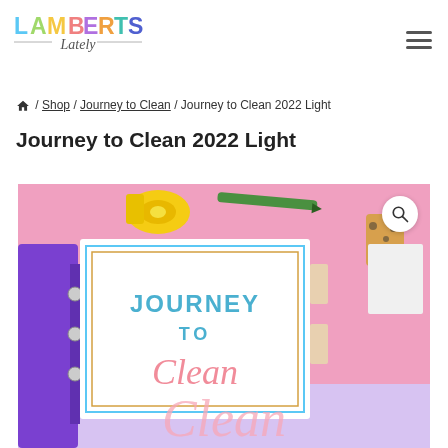[Figure (logo): Lamberts Lately logo with colorful letters and script subtitle]
🏠 / Shop / Journey to Clean / Journey to Clean 2022 Light
Journey to Clean 2022 Light
[Figure (photo): Photo of a purple binder on a pink background with cleaning planner 'Journey to Clean' cover visible, alongside stationery items like a yellow tape dispenser, green pen, and leopard print clips]